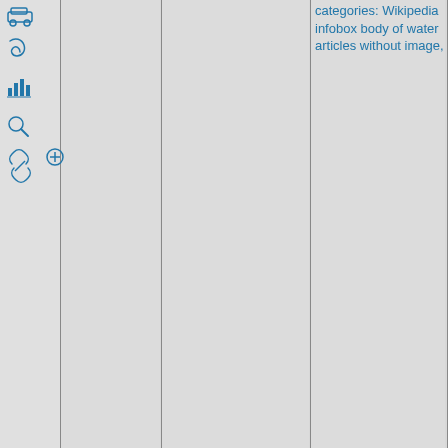[Figure (screenshot): Wikipedia-style interface with vertical column layout. Left sidebar contains blue icons: car, spiral, bar chart, magnifying glass with plus, and chain link. Multiple vertical gray columns divide the page. The rightmost visible column contains blue text reading 'categories: Wikipedia infobox body of water articles without image,']
categories: Wikipedia infobox body of water articles without image,